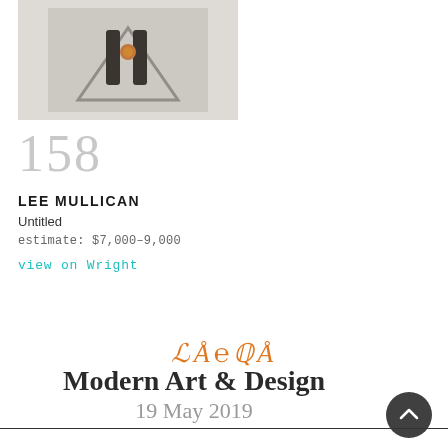[Figure (photo): Photograph of an artwork by Lee Mullican, showing a textured gray surface with dark marks and a small orange/brown circular element in the center.]
158
LEE MULLICAN
Untitled
estimate: $7,000–9,000
view on Wright
LAMA
Modern Art & Design
19 May 2019